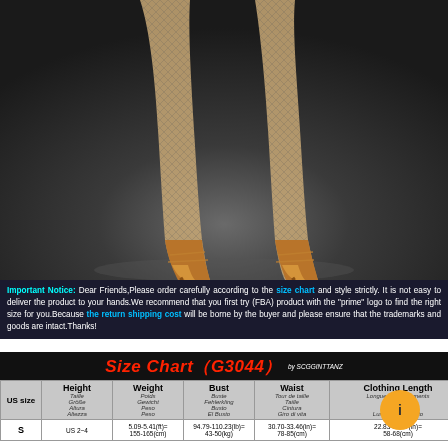[Figure (photo): Legs of a woman wearing fishnet stockings and gold/bronze Latin dance heels on a dark grey background, crossed pose]
Important Notice: Dear Friends,Please order carefully according to the size chart and style strictly. It is not easy to deliver the product to your hands.We recommend that you first try (FBA) product with the "prime" logo to find the right size for you.Because the return shipping cost will be borne by the buyer and please ensure that the trademarks and goods are intact.Thanks!
Size Chart（G3044）  by SCGGINTTANZ
| US size | Height
Taille
Größe
Altura
Altezza | Weight
Poids
Gewicht
Peso
Peso | Bust
Buste
Fehlerkling
Busto
El Busto | Waist
Tour de taille
Taille
Cintura
Giro di vita | Clothing Length
Longueur de vêtements
Kleidlänge
Larg.
Lunghezza di abito |
| --- | --- | --- | --- | --- | --- |
| S | US 2~4 | 5.09-5.41(ft)=
155-165(cm) | 94.79-110.23(lb)=
43-50(kg) | 30.70-33.46(in)=
78-85(cm) | 22.83-26.77(in)=
58-68(cm) | 38.18(in)=97(cm) |